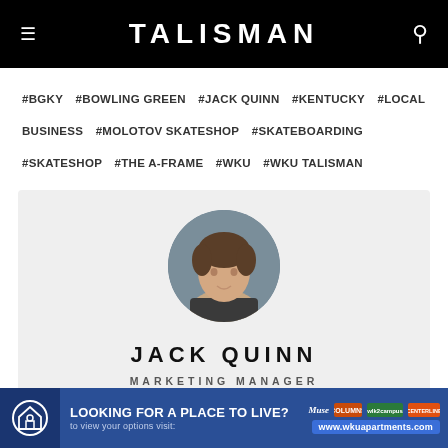TALISMAN
#BGKY  #BOWLING GREEN  #JACK QUINN  #KENTUCKY  #LOCAL BUSINESS  #MOLOTOV SKATESHOP  #SKATEBOARDING  #SKATESHOP  #THE A-FRAME  #WKU  #WKU TALISMAN
[Figure (photo): Circular headshot photo of Jack Quinn, a young man with medium-length brown hair wearing a dark shirt, against a grey-blue background]
JACK QUINN
MARKETING MANAGER
[Figure (infographic): Advertisement banner: LOOKING FOR A PLACE TO LIVE? to view your options visit: www.wkuapartments.com — with Muse, Columns, WalkToCompus, and Centerline logos]